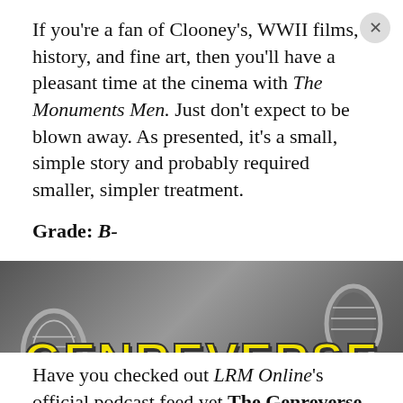If you're a fan of Clooney's, WWII films, history, and fine art, then you'll have a pleasant time at the cinema with The Monuments Men. Just don't expect to be blown away. As presented, it's a small, simple story and probably required smaller, simpler treatment.
Grade: B-
[Figure (logo): GenreVerse podcast logo — yellow stylized text 'GENREVERSE' over a blurred black and white microphone background]
Have you checked out LRM Online's official podcast feed yet The Genreverse Podcast